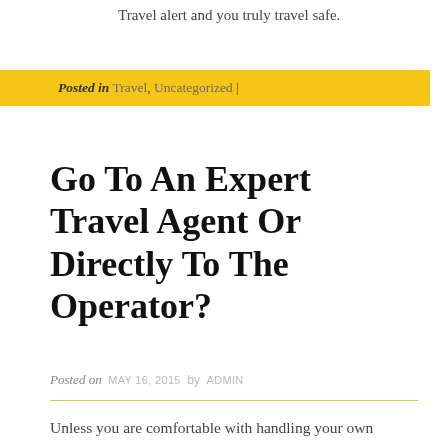Travel alert and you truly travel safe.
Posted in Travel, Uncategorized |
Go To An Expert Travel Agent Or Directly To The Operator?
Posted on MAY 16, 2015 by ADMIN
Unless you are comfortable with handling your own arrangements directly with travel operators over their websites or your travel selection is just a simple selection from a brochure you should consider finding an expert travel agent for your travel destination or activity requirements. This is not as simple as it sounds as many travel agents are designated as 'specialists' which often does not mean too much, except that they